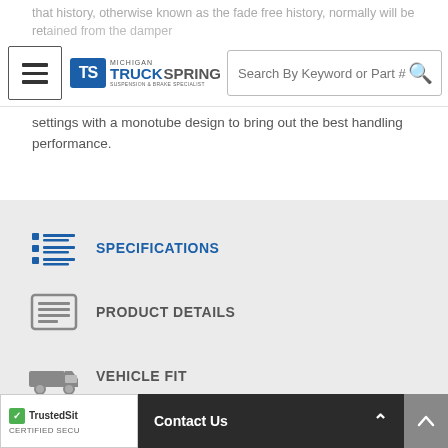that history, otherwise known as the fade free history, normally will be retained through the damper settings with a monotube design to bring out the best handling performance.
[Figure (logo): Michigan TruckSpring logo with TS emblem and tagline Suspension & Brake Specialist]
[Figure (screenshot): Search bar with text 'Search By Keyword or Part #' and hamburger menu icon]
SPECIFICATIONS
PRODUCT DETAILS
VEHICLE FIT
CUSTOMER REVIEWS
Contact Us | TrustedSite Certified Secure